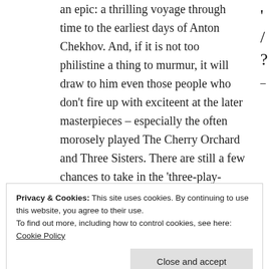an epic: a thrilling voyage through time to the earliest days of Anton Chekhov. And, if it is not too philistine a thing to murmur, it will draw to him even those people who don't fire up with exciteent at the later masterpieces – especially the often morosely played The Cherry Orchard and Three Sisters. There are still a few chances to take in the 'three-play-day", and however hot and tempting the summer day, it will demonstrate even to doubters that eight hours of 19th century Russian drama can be a perfect way to spend it.
Privacy & Cookies: This site uses cookies. By continuing to use this website, you agree to their use.
To find out more, including how to control cookies, see here: Cookie Policy
Three three theatre giants – Chekhov,